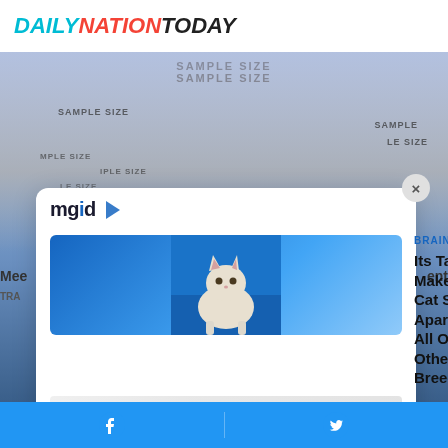DAILYNATIONTODAY
[Figure (photo): Background photo of a woman in a sample size dress, cropped, with blue background]
[Figure (screenshot): MGID advertisement overlay card with two content recommendations: 1) BRAINBERRIES - Its Tail Makes This Cat Stand Apart From All Of The Other Breeds (with cat photo), 2) HERBEAUTY - 11 Ayurveda Heath Secrets From Ancient India (with hands photo)]
Facebook share | Twitter share